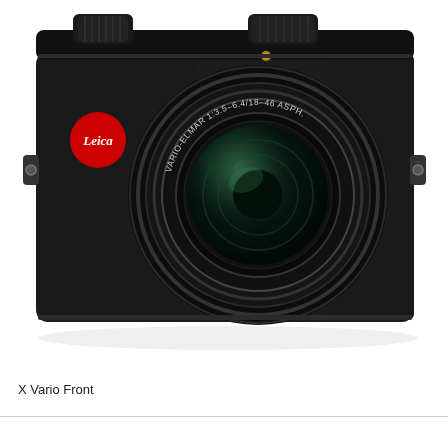[Figure (photo): Front view of a Leica X Vario compact camera. Black body with textured leather-like grip. Large lens labeled VARIO-ELMAR 1:3.5-6.4/18-46 ASPH. Red Leica logo badge on left side. LEICA text above lens. Two command dials on top. Strap lugs on both sides.]
X Vario Front